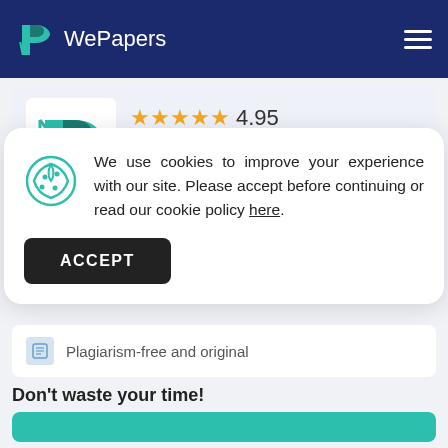WePapers
[Figure (logo): WePapers logo with writer rating card showing 4.95 stars, Verified writer badge, Finished papers: 2756]
We use cookies to improve your experience with our site. Please accept before continuing or read our cookie policy here.
ACCEPT
Plagiarism-free and original
Don't waste your time!